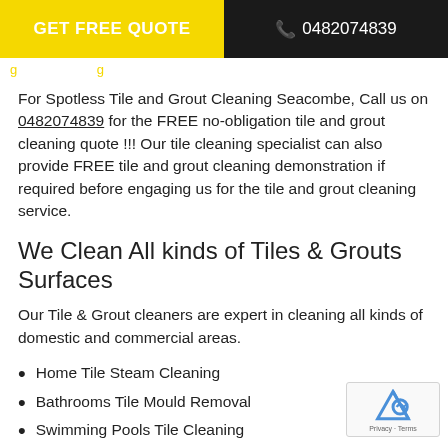GET FREE QUOTE   0482074839
For Spotless Tile and Grout Cleaning Seacombe, Call us on 0482074839 for the FREE no-obligation tile and grout cleaning quote !!! Our tile cleaning specialist can also provide FREE tile and grout cleaning demonstration if required before engaging us for the tile and grout cleaning service.
We Clean All kinds of Tiles & Grouts Surfaces
Our Tile & Grout cleaners are expert in cleaning all kinds of domestic and commercial areas.
Home Tile Steam Cleaning
Bathrooms Tile Mould Removal
Swimming Pools Tile Cleaning